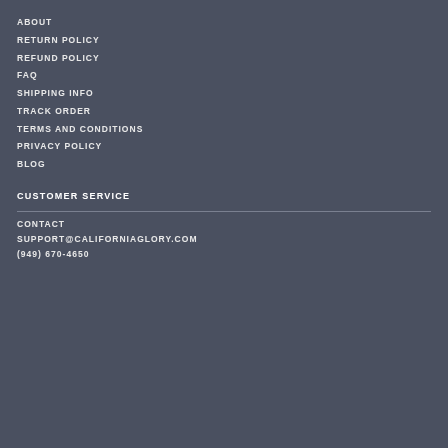ABOUT
RETURN POLICY
REFUND POLICY
FAQ
SHIPPING INFO
TRACK ORDER
TERMS AND CONDITIONS
PRIVACY POLICY
BLOG
CUSTOMER SERVICE
CONTACT
SUPPORT@CALIFORNIAGLORY.COM
(949) 670-4650